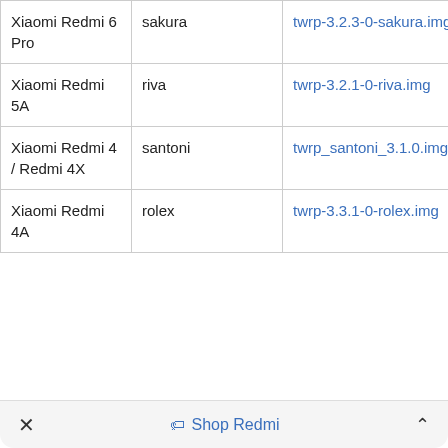| Device | Code | File |
| --- | --- | --- |
| Xiaomi Redmi 6 Pro | sakura | twrp-3.2.3-0-sakura.img |
| Xiaomi Redmi 5A | riva | twrp-3.2.1-0-riva.img |
| Xiaomi Redmi 4 / Redmi 4X | santoni | twrp_santoni_3.1.0.img |
| Xiaomi Redmi 4A | rolex | twrp-3.3.1-0-rolex.img |
× Shop Redmi ^